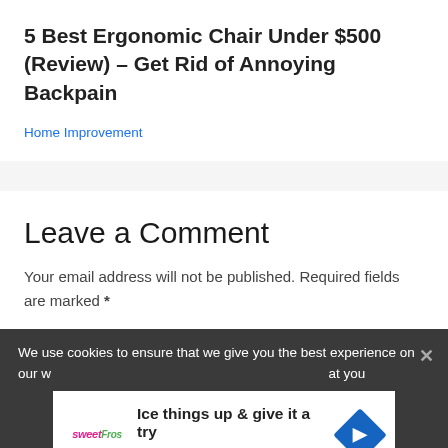5 Best Ergonomic Chair Under $500 (Review) – Get Rid of Annoying Backpain
Home Improvement
Leave a Comment
Your email address will not be published. Required fields are marked *
We use cookies to ensure that we give you the best experience on our w… at you
[Figure (other): sweetFrog advertisement banner: 'Ice things up & give it a try sweetFrog' with logo and blue diamond arrow icon]
×